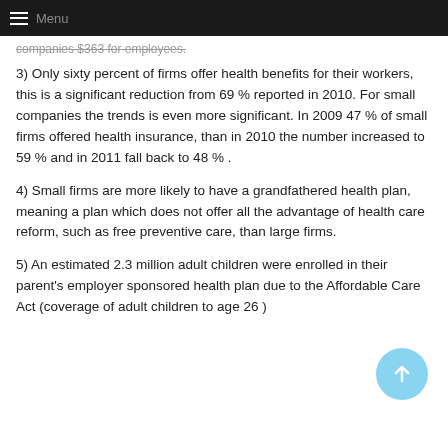Menu
companies $363 for employees.
3) Only sixty percent of firms offer health benefits for their workers, this is a significant reduction from 69 % reported in 2010. For small companies the trends is even more significant. In 2009 47 % of small firms offered health insurance, than in 2010 the number increased to 59 % and in 2011 fall back to 48 % .
4) Small firms are more likely to have a grandfathered health plan, meaning a plan which does not offer all the advantage of health care reform, such as free preventive care, than large firms.
5) An estimated 2.3 million adult children were enrolled in their parent's employer sponsored health plan due to the Affordable Care Act (coverage of adult children to age 26 )